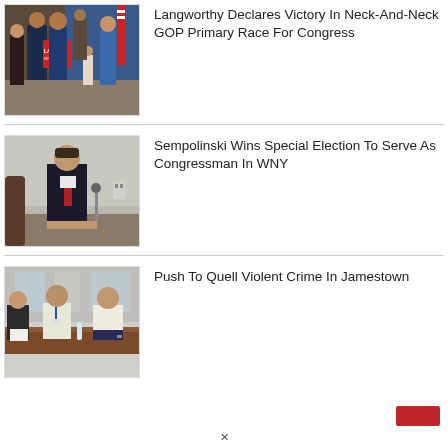[Figure (photo): Group of people at a political event with campaign signs in the background]
Langworthy Declares Victory In Neck-And-Neck GOP Primary Race For Congress
[Figure (photo): Man in dark suit with red tie speaking at a meeting or hearing]
Sempolinski Wins Special Election To Serve As Congressman In WNY
[Figure (photo): Several people seated at a conference table in a meeting room]
Push To Quell Violent Crime In Jamestown